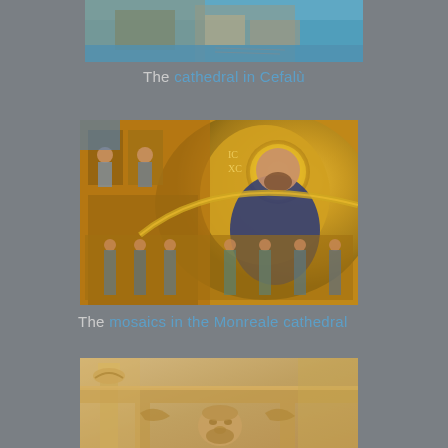[Figure (photo): Partial view of the cathedral in Cefalù with blue sea and stone ruins visible]
The cathedral in Cefalù
[Figure (photo): Golden Byzantine mosaics inside the Monreale cathedral, featuring Christ Pantocrator and saints in the apse]
The mosaics in the Monreale cathedral
[Figure (photo): Close-up of ornate stone carvings and architectural details of a cathedral, showing decorative capitals and a sculpted face]